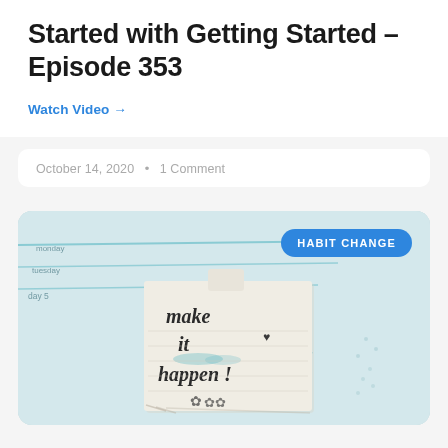Started with Getting Started – Episode 353
Watch Video →
October 14, 2020  •  1 Comment
[Figure (photo): A planner/journal with a sticky note reading 'make it happen!' with decorative handwriting, surrounded by calendar pages showing days of the week (friday, saturday, sunday). A blue 'HABIT CHANGE' badge overlays the top right.]